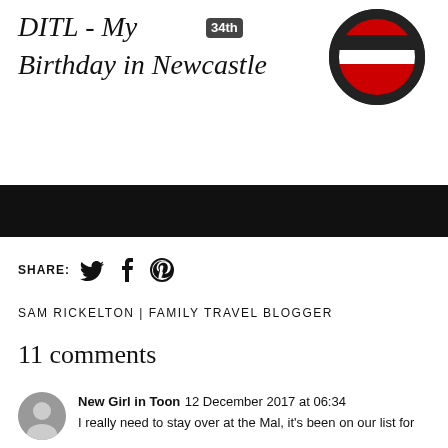DITL - My 34th Birthday in Newcastle
[Figure (logo): Red and white circular logo with horizontal stripes resembling a no-entry sign]
[Figure (photo): Black banner/image bar across page]
SHARE:
SAM RICKELTON | FAMILY TRAVEL BLOGGER
11 comments
New Girl in Toon  12 December 2017 at 06:34
I really need to stay over at the Mal, it's been on our list for